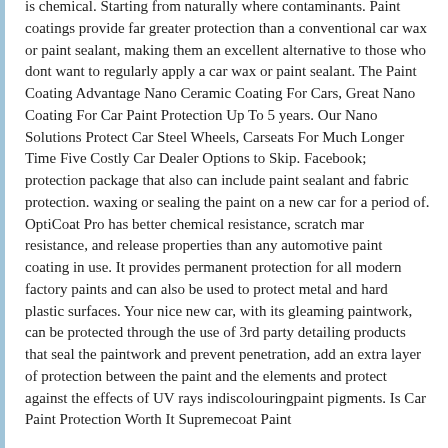is chemical. Starting from naturally where contaminants. Paint coatings provide far greater protection than a conventional car wax or paint sealant, making them an excellent alternative to those who dont want to regularly apply a car wax or paint sealant. The Paint Coating Advantage Nano Ceramic Coating For Cars, Great Nano Coating For Car Paint Protection Up To 5 years. Our Nano Solutions Protect Car Steel Wheels, Carseats For Much Longer Time Five Costly Car Dealer Options to Skip. Facebook; protection package that also can include paint sealant and fabric protection. waxing or sealing the paint on a new car for a period of. OptiCoat Pro has better chemical resistance, scratch mar resistance, and release properties than any automotive paint coating in use. It provides permanent protection for all modern factory paints and can also be used to protect metal and hard plastic surfaces. Your nice new car, with its gleaming paintwork, can be protected through the use of 3rd party detailing products that seal the paintwork and prevent penetration, add an extra layer of protection between the paint and the elements and protect against the effects of UV rays indiscolouringpaint pigments. Is Car Paint Protection Worth It Supremecoat Paint